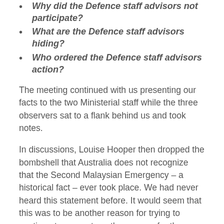Why did the Defence staff advisors not participate?
What are the Defence staff advisors hiding?
Who ordered the Defence staff advisors action?
The meeting continued with us presenting our facts to the two Ministerial staff while the three observers sat to a flank behind us and took notes.
In discussions, Louise Hooper then dropped the bombshell that Australia does not recognize that the Second Malaysian Emergency – a historical fact – ever took place. We had never heard this statement before. It would seem that this was to be another reason for trying to continue to present another reason for the Government determining a finding of non-warlike service.